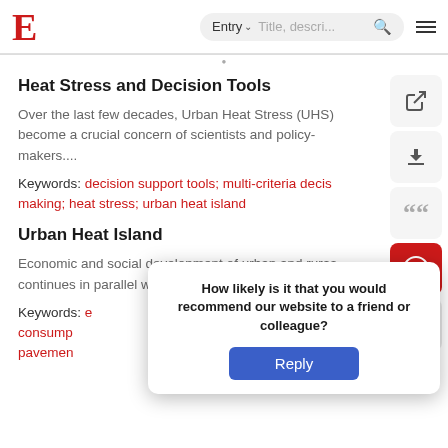E  Entry  Title, description... [search] [menu]
Heat Stress and Decision Tools
Over the last few decades, Urban Heat Stress (UHS) become a crucial concern of scientists and policy-makers....
Keywords: decision support tools; multi-criteria decision making; heat stress; urban heat island
Urban Heat Island
Economic and social development of urban and rural areas continues in parallel with the increase the....
Keywords: consumption pavement
How likely is it that you would recommend our website to a friend or colleague? Reply